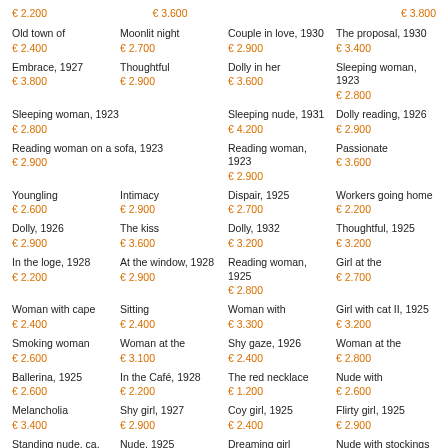€ 2.200
€ 3.600
€ 3.800
Old town of
€ 2.400
Moonlit night
€ 2.700
Couple in love, 1930
€ 2.900
The proposal, 1930
€ 3.400
Embrace, 1927
€ 3.800
Thoughtful
€ 2.900
Dolly in her
€ 3.600
Sleeping woman, 1923
€ 2.800
Sleeping woman, 1923
€ 2.800
Sleeping nude, 1931
€ 4.200
Dolly reading, 1926
€ 2.900
Reading woman on a sofa, 1923
€ 2.900
Reading woman, 1923
€ 2.900
Passionate
€ 3.600
Youngling
€ 2.600
Intimacy
€ 2.900
Dispair, 1925
€ 2.700
Workers going home
€ 2.200
Dolly, 1926
€ 2.900
The kiss
€ 3.600
Dolly, 1932
€ 3.200
Thoughtful, 1925
€ 3.200
In the loge, 1928
€ 2.200
At the window, 1928
€ 2.900
Reading woman, 1925
€ 2.800
Girl at the
€ 2.700
Woman with cape
€ 2.400
Sitting
€ 2.400
Woman with
€ 3.300
Girl with cat II, 1925
€ 3.200
Smoking woman
€ 2.600
Woman at the
€ 3.100
Shy gaze, 1926
€ 2.400
Woman at the
€ 2.800
Ballerina, 1925
€ 2.600
In the Café, 1928
€ 2.200
The red necklace
€ 1.200
Nude with
€ 2.600
Melancholia
€ 3.400
Shy girl, 1927
€ 2.900
Coy girl, 1925
€ 2.400
Flirty girl, 1925
€ 2.900
Standing nude, ca.
€ 3.000
Nude, 1925
€ 3.000
Dreaming girl
€ 3.000
Nude with stockings
€ 3.000